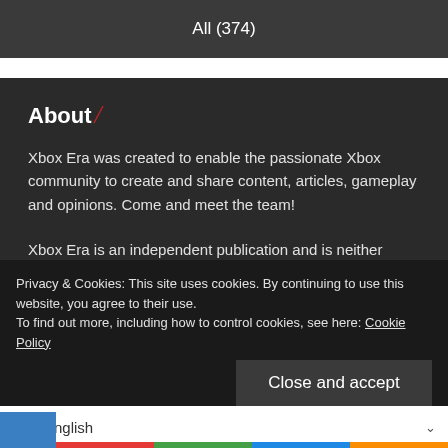All (374)
About /
Xbox Era was created to enable the passionate Xbox community to create and share content, articles, gameplay and opinions. Come and meet the team!
Xbox Era is an independent publication and is neither affiliated with, nor authorized, sponsored, or approved by, Microsoft Corporation.
Privacy & Cookies: This site uses cookies. By continuing to use this website, you agree to their use.
To find out more, including how to control cookies, see here: Cookie Policy
Close and accept
English